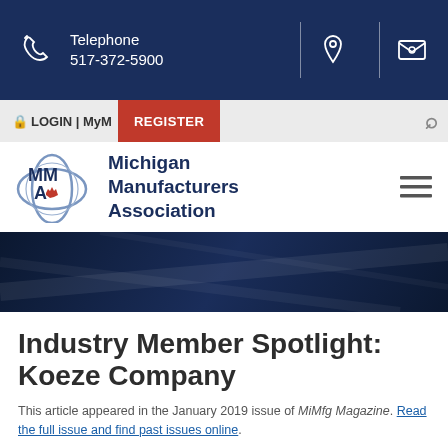Telephone 517-372-5900
[Figure (screenshot): Michigan Manufacturers Association website header with navigation bar showing LOGIN | MyM and REGISTER button, MMA logo, and hero banner]
Industry Member Spotlight: Koeze Company
This article appeared in the January 2019 issue of MiMfg Magazine. Read the full issue and find past issues online.